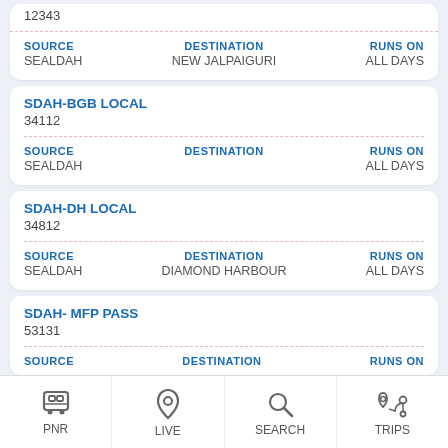12343
SOURCE: SEALDAH | DESTINATION: NEW JALPAIGURI | RUNS ON: ALL DAYS
SDAH-BGB LOCAL
34112
SOURCE: SEALDAH | DESTINATION: | RUNS ON: ALL DAYS
SDAH-DH LOCAL
34812
SOURCE: SEALDAH | DESTINATION: DIAMOND HARBOUR | RUNS ON: ALL DAYS
SDAH- MFP PASS
53131
SOURCE: SEALDAH | DESTINATION: | RUNS ON:
PNR | LIVE | SEARCH | TRIPS